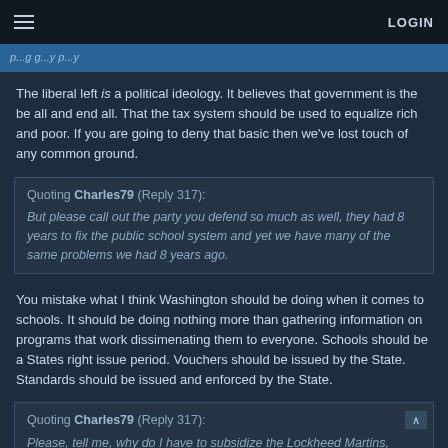LOGIN
The liberal left is a political ideology. It believes that government is the be all and end all. That the tax system should be used to equalize rich and poor. If you are going to deny that basic then we've lost touch of any common ground.
Quoting Charles79 (Reply 317): But please call out the party you defend so much as well, they had 8 years to fix the public school system and yet we have many of the same problems we had 8 years ago.
You mistake what I think Washington should be doing when it comes to schools. It should be doing nothing more than gathering information on programs that work dissimenating them to everyone. Schools should be a States right issue period. Vouchers should be issued by the State. Standards should be issued and enforced by the State.
Quoting Charles79 (Reply 317): Please, tell me, why do I have to subsidize the Lockheed Martins, Boeings, and Northrop Grummans?